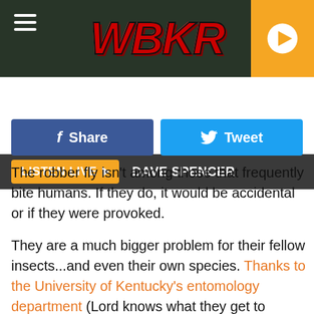[Figure (screenshot): WBKR radio station website header with dark background, red italic WBKR logo in center, hamburger menu icon on left, orange play button on right]
LISTEN LIVE ▶  DAVE SPENCER
[Figure (infographic): Social sharing buttons row: blue Facebook Share button and light blue Twitter Tweet button]
The robber fly isn't among those that frequently bite humans. If they do, it would be accidental or if they were provoked.

They are a much bigger problem for their fellow insects...and even their own species. Thanks to the University of Kentucky's entomology department (Lord knows what they get to dissect in THOSE classes), we know that robber flies like to dine on pests we don't need like wasps, among others, but their lack of discrimination also means they'll eat the insects we DO need like bees. But if you're looking for evidence that robber flies DO put on their big boy pants, just ask yellowjackets, or better yet, watch this: